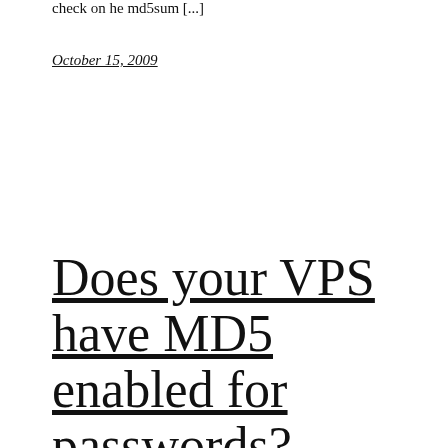check on he md5sum [...]
October 15, 2009
Does your VPS have MD5 enabled for passwords?